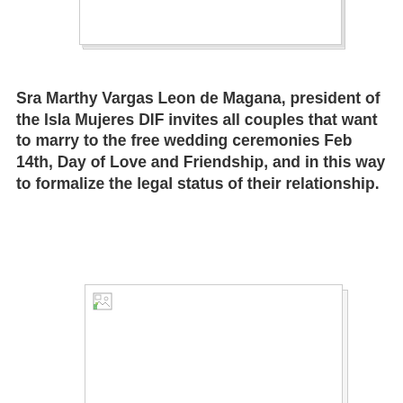[Figure (photo): Partially visible image placeholder at top of page, cropped]
Sra Marthy Vargas Leon de Magana, president of the Isla Mujeres DIF invites all couples that want to marry to the free wedding ceremonies Feb 14th, Day of Love and Friendship, and in this way to formalize the legal status of their relationship.
[Figure (photo): Image placeholder with broken image icon in upper-left corner]